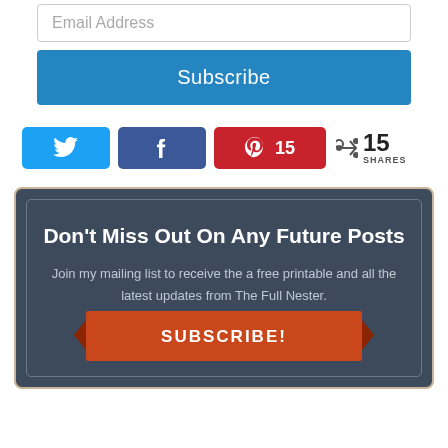Email Address
Subscribe
[Figure (infographic): Social share buttons: Twitter (blue bird), Facebook (blue f), Pinterest (red P with count 15), and share icon with 15 SHARES label]
Don't Miss Out On Any Future Posts
Join my mailing list to receive the a free printable and all the latest updates from The Full Nester.
SUBSCRIBE!